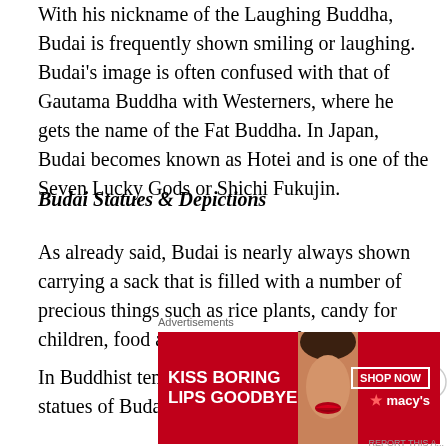With his nickname of the Laughing Buddha, Budai is frequently shown smiling or laughing. Budai's image is often confused with that of Gautama Buddha with Westerners, where he gets the name of the Fat Buddha. In Japan, Budai becomes known as Hotei and is one of the Seven Lucky Gods or Shichi Fukujin.
Budai Statues & Depictions
As already said, Budai is nearly always shown carrying a sack that is filled with a number of precious things such as rice plants, candy for children, food and the sadness of the world.
In Buddhist temples throughout China, statues of Budai
[Figure (other): Advertisement banner: red background with 'KISS BORING LIPS GOODBYE' text, a woman's face/lips, 'SHOP NOW' button, and Macy's star logo]